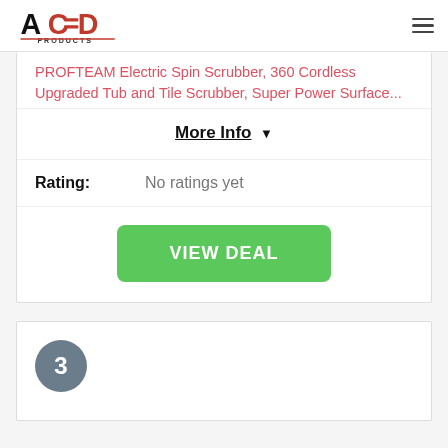ACED Products logo and navigation menu
PROFTEAM Electric Spin Scrubber, 360 Cordless Upgraded Tub and Tile Scrubber, Super Power Surface...
More Info ▼
Rating: No ratings yet
VIEW DEAL
3